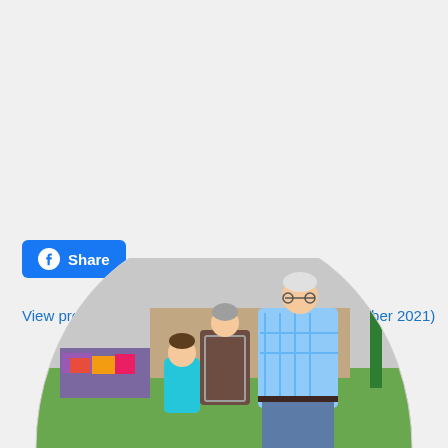Share (Facebook button)
View previous Special Outreaches report (25 November 2021)
[Figure (photo): Two elderly adults (a woman in a patterned top and a man in a blue plaid shirt) bending down toward a young child in a teal hoodie, outdoors near a flower garden and green lawn.]